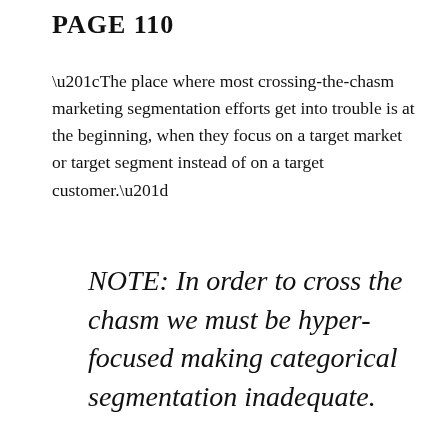PAGE 110
“The place where most crossing-the-chasm marketing segmentation efforts get into trouble is at the beginning, when they focus on a target market or target segment instead of on a target customer.”
NOTE: In order to cross the chasm we must be hyper-focused making categorical segmentation inadequate.